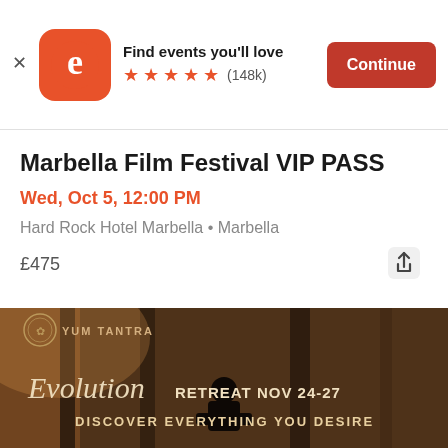[Figure (screenshot): Eventbrite app banner with logo, 'Find events you'll love', star rating (148k reviews), and orange Continue button]
Marbella Film Festival VIP PASS
Wed, Oct 5, 12:00 PM
Hard Rock Hotel Marbella • Marbella
£475
[Figure (illustration): Yum Tantra Evolution Retreat promotional image showing silhouette of person against dark moody background with text 'Evolution RETREAT NOV 24-27' and 'DISCOVER EVERYTHING YOU DESIRE']